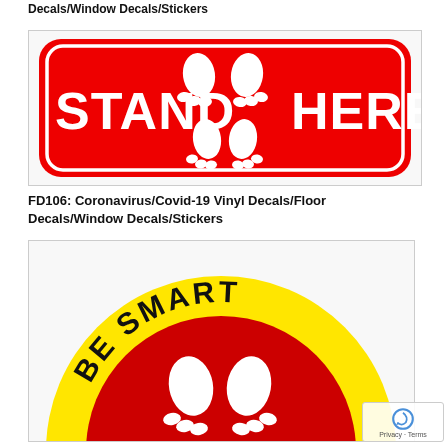Decals/Window Decals/Stickers
[Figure (illustration): Red rectangular floor decal/sticker with white footprints and text STAND HERE]
FD106: Coronavirus/Covid-19 Vinyl Decals/Floor Decals/Window Decals/Stickers
[Figure (illustration): Circular yellow and red floor decal with black text BE SMART around the top arc, red circle in center with white footprints, partial text P...T visible at bottom]